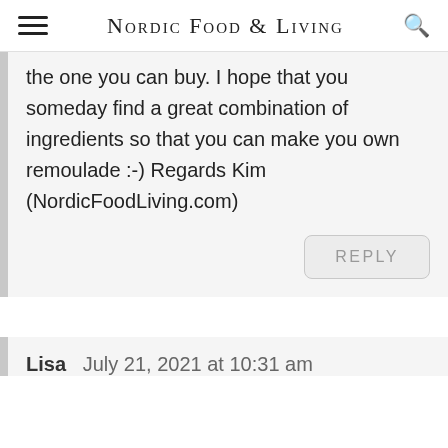Nordic Food & Living
the one you can buy. I hope that you someday find a great combination of ingredients so that you can make you own remoulade :-) Regards Kim (NordicFoodLiving.com)
REPLY
Lisa   July 21, 2021 at 10:31 am